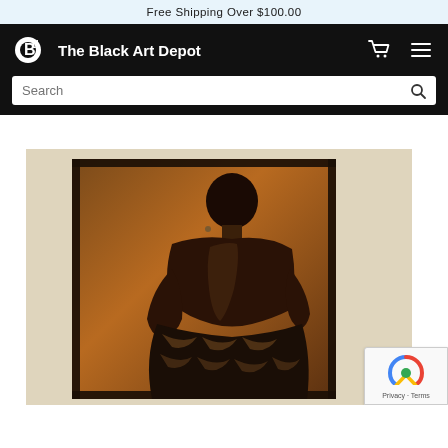Free Shipping Over $100.00
[Figure (logo): The Black Art Depot logo and navigation bar with cart and menu icons on black background, with search bar below]
[Figure (photo): Artwork product image showing a painting of a woman viewed from behind, wearing a patterned skirt, with warm brown tones on a tan/cream background mat]